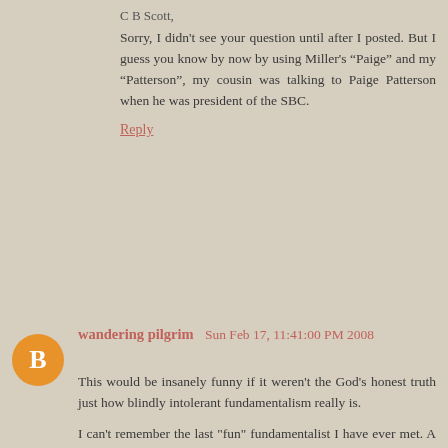C B Scott,
Sorry, I didn't see your question until after I posted. But I guess you know by now by using Miller's "Paige" and my "Patterson", my cousin was talking to Paige Patterson when he was president of the SBC.
Reply
wandering pilgrim  Sun Feb 17, 11:41:00 PM 2008
This would be insanely funny if it weren't the God's honest truth just how blindly intolerant fundamentalism really is.
I can't remember the last "fun" fundamentalist I have ever met. A little church I used to preach at had another fellow who helped with the preaching and evangelism, who one Saturday when we were going to go through the area door to door (it was also mid summer and 100 degrees) had on very conservative shorts(what would liberals shorts look like?) with sneakers.
Well the "head pastor" who liked to refer to himself as the "local apostle" let him have it for giving the women in the